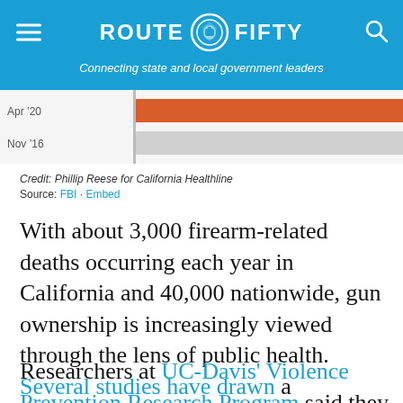ROUTE FIFTY — Connecting state and local government leaders
[Figure (other): Partial bar chart visible at top of content area with orange and gray bars, partially cropped. Labels visible: Apr '20, Nov '16]
Credit: Phillip Reese for California Healthline
Source: FBI · Embed
With about 3,000 firearm-related deaths occurring each year in California and 40,000 nationwide, gun ownership is increasingly viewed through the lens of public health. Several studies have drawn a connection between gun ownership and gun-related deaths.
Researchers at UC-Davis' Violence Prevention Research Program said they are particularly